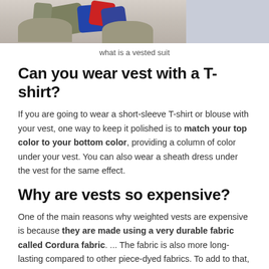[Figure (photo): Cropped photo showing hands holding/arranging a vest or suit with blue and red fabric, person wearing olive/grey clothing]
what is a vested suit
Can you wear vest with a T-shirt?
If you are going to wear a short-sleeve T-shirt or blouse with your vest, one way to keep it polished is to match your top color to your bottom color, providing a column of color under your vest. You can also wear a sheath dress under the vest for the same effect.
Why are vests so expensive?
One of the main reasons why weighted vests are expensive is because they are made using a very durable fabric called Cordura fabric. ... The fabric is also more long-lasting compared to other piece-dyed fabrics. To add to that, Cordura